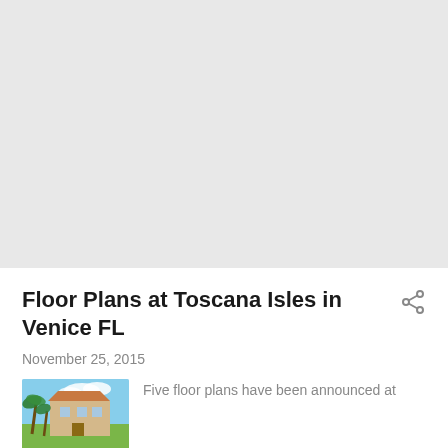[Figure (other): Gray placeholder/advertisement area occupying the top portion of the page]
Floor Plans at Toscana Isles in Venice FL
November 25, 2015
[Figure (photo): Small thumbnail photo showing a building with palm trees and blue sky]
Five floor plans have been announced at